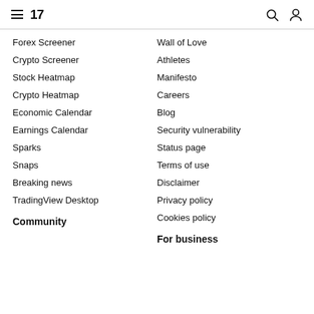TradingView navigation header with hamburger menu, logo, search and user icons
Forex Screener
Wall of Love
Crypto Screener
Athletes
Stock Heatmap
Manifesto
Crypto Heatmap
Careers
Economic Calendar
Blog
Earnings Calendar
Security vulnerability
Sparks
Status page
Snaps
Terms of use
Breaking news
Disclaimer
TradingView Desktop
Privacy policy
Cookies policy
Community
For business